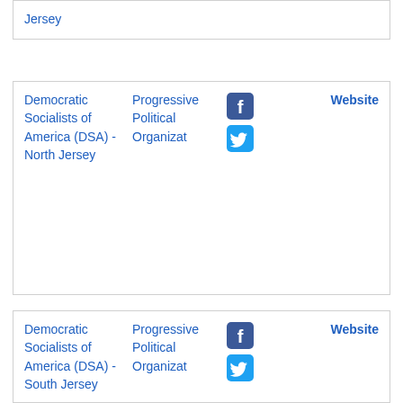| Jersey |  |  |  |
| Democratic Socialists of America (DSA) - North Jersey | Progressive Political Organization | Facebook, Twitter | Website |
| Democratic Socialists of America (DSA) - South Jersey | Progressive Political Organization | Facebook, Twitter | Website |